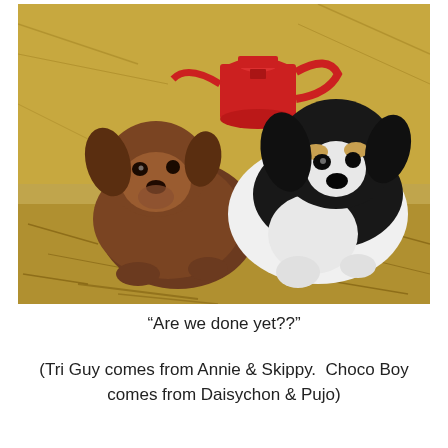[Figure (photo): Two puppies sitting on hay/straw with a red watering can in the background. Left puppy is a brown/chocolate fluffy puppy (Choco Boy). Right puppy is a black and white tri-colored puppy (Tri Guy). Both are small and sitting close together.]
“Are we done yet??”
(Tri Guy comes from Annie & Skippy.  Choco Boy comes from Daisychon & Pujo)